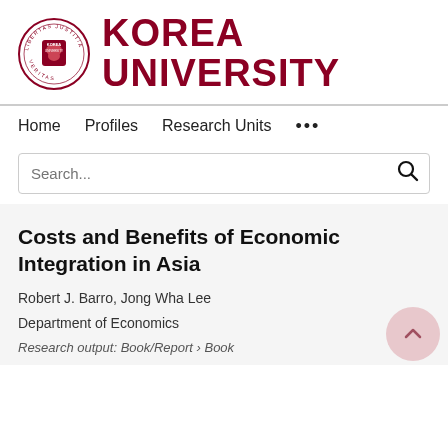[Figure (logo): Korea University logo with circular seal and bold KOREA UNIVERSITY text in dark red]
Home   Profiles   Research Units   ...
Search...
Costs and Benefits of Economic Integration in Asia
Robert J. Barro, Jong Wha Lee
Department of Economics
Research output: Book/Report › Book